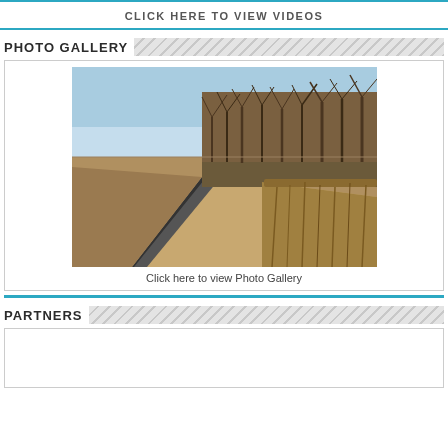CLICK HERE TO VIEW VIDEOS
PHOTO GALLERY
[Figure (photo): Rural gravel road with dry bare trees and brush on the right side, extending into the distance under a blue sky.]
Click here to view Photo Gallery
PARTNERS